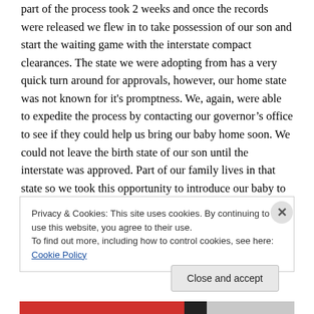part of the process took 2 weeks and once the records were released we flew in to take possession of our son and start the waiting game with the interstate compact clearances. The state we were adopting from has a very quick turn around for approvals, however, our home state was not known for it's promptness. We, again, were able to expedite the process by contacting our governor's office to see if they could help us bring our baby home soon. We could not leave the birth state of our son until the interstate was approved. Part of our family lives in that state so we took this opportunity to introduce our baby to his great
Privacy & Cookies: This site uses cookies. By continuing to use this website, you agree to their use.
To find out more, including how to control cookies, see here: Cookie Policy
Close and accept